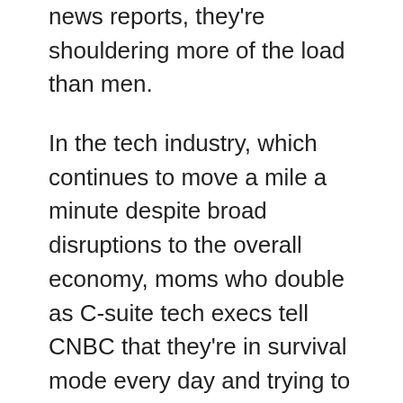news reports, they're shouldering more of the load than men.
In the tech industry, which continues to move a mile a minute despite broad disruptions to the overall economy, moms who double as C-suite tech execs tell CNBC that they're in survival mode every day and trying to embrace the weirdness of the moment.
Whether it's dressing up in costumes, pitching a tent in the backyard for a camping night, or letting the kids entertain colleagues and customers on Zoom calls, the current crisis is forcing mothers to forget about a home-workplace separation and allow their two worlds to collide in sometimes uncomfortable ways.